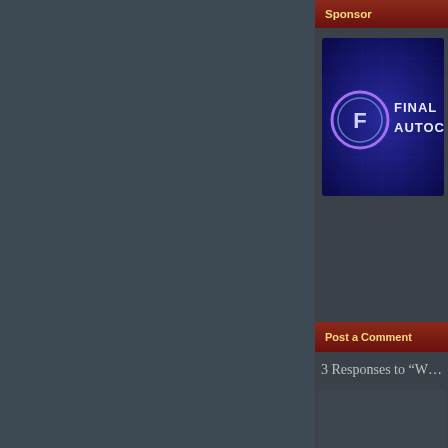Sponsor
[Figure (logo): Final Autocu logo on dark blue/purple gradient background with circular F icon]
Post a Comment
3 Responses to “W…
[Figure (photo): Default user avatar silhouette on grey background]
Zac
April 5, 2018 at 2:27
One of the scariest ga…
To those lookin’ for m…
forever.
Give it a try.